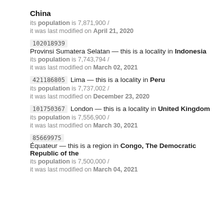China
its population is 7,871,900 /
it was last modified on April 21, 2020
102018939  Provinsi Sumatera Selatan — this is a locality in Indonesia
its population is 7,743,794 /
it was last modified on March 02, 2021
421186805  Lima — this is a locality in Peru
its population is 7,737,002 /
it was last modified on December 23, 2020
101750367  London — this is a locality in United Kingdom
its population is 7,556,900 /
it was last modified on March 30, 2021
85669975  Équateur — this is a region in Congo, The Democratic Republic of the
its population is 7,500,000 /
it was last modified on March 04, 2021